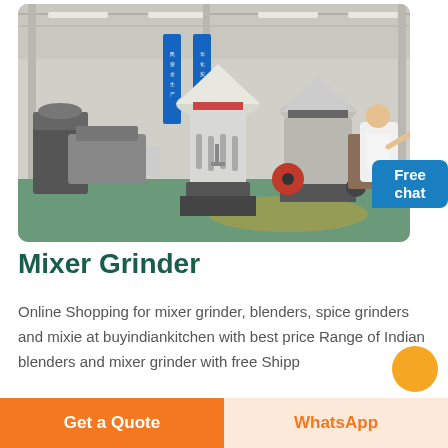[Figure (photo): Industrial factory floor showing large white cone crushers/grinder machines in a spacious warehouse with green floor, blue banner signs in Chinese, and steel roof structure. A customer service representative figure and a blue 'Free chat' bubble appear in the bottom-right corner of the image.]
Mixer Grinder
Online Shopping for mixer grinder, blenders, spice grinders and mixie at buyindiankitchen with best price Range of Indian blenders and mixer grinder with free Shipp
Get a Quote
WhatsApp